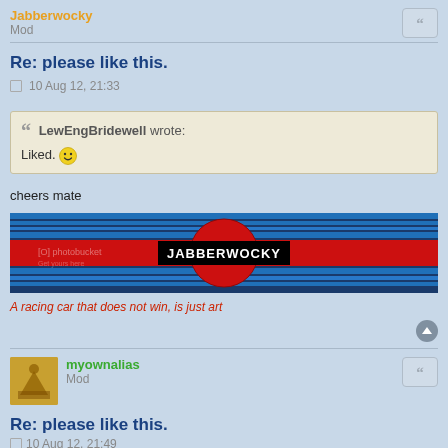Jabberwocky
Mod
Re: please like this.
10 Aug 12, 21:33
LewEngBridewell wrote:
Liked. :)
cheers mate
[Figure (illustration): Jabberwocky banner with Martini racing stripes (blue and red horizontal stripes) and a red circle with JABBERWOCKY text in black box. Photobucket watermark visible.]
A racing car that does not win, is just art
myownalias
Mod
Re: please like this.
10 Aug 12, 21:49